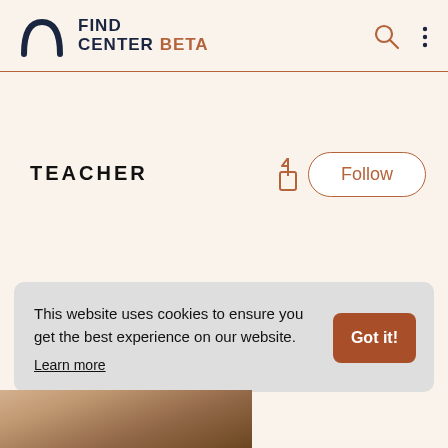FIND CENTER BETA
TEACHER
Follow
This website uses cookies to ensure you get the best experience on our website.
Learn more
Got it!
[Figure (photo): Partial photo strip at bottom of page showing a person]